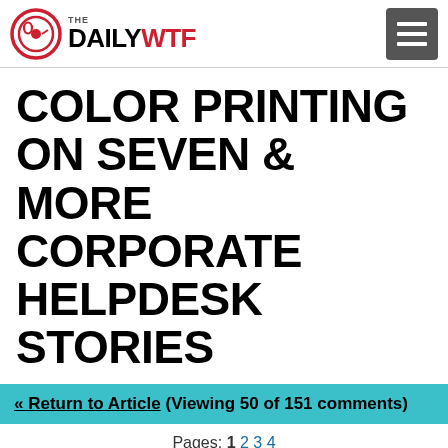THE DAILY WTF
COLOR PRINTING ON SEVEN & MORE CORPORATE HELPDESK STORIES
« Return to Article (Viewing 50 of 151 comments)
Pages: 1 2 3 4
amischiefr (cs) — 2008-09-11 — Death to all Office assistants!!!
KD (unregistered) — 2008-09-11